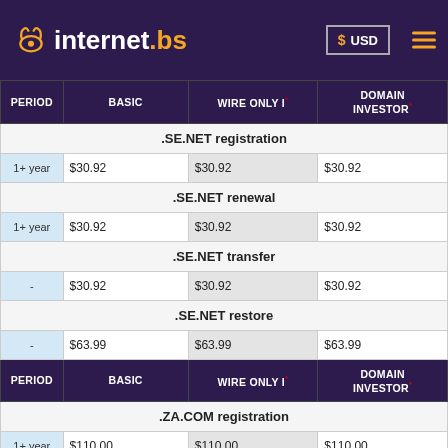internet.bs — USD header
| PERIOD | BASIC | WIRE ONLY I* | DOMAIN INVESTOR* |
| --- | --- | --- | --- |
| .SE.NET registration |  |  |  |
| 1+ year | $30.92 | $30.92 | $30.92 |
| .SE.NET renewal |  |  |  |
| 1+ year | $30.92 | $30.92 | $30.92 |
| .SE.NET transfer |  |  |  |
| - | $30.92 | $30.92 | $30.92 |
| .SE.NET restore |  |  |  |
| - | $63.99 | $63.99 | $63.99 |
| PERIOD | BASIC | WIRE ONLY I* | DOMAIN INVESTOR* |
| .ZA.COM registration |  |  |  |
| 1+ year | $110.00 | $110.00 | $110.00 |
| .ZA.COM renewal |  |  |  |
| 1+ year | $110.00 | $110.00 | $110.00 |
| .ZA.COM transfer |  |  |  |